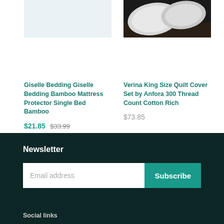[Figure (photo): Product image placeholder – light blue/grey background for mattress protector]
Giselle Bedding Giselle Bedding Bamboo Mattress Protector Single Bed Bamboo
$21.85  $33.99
[Figure (photo): Product photo – white pillows on dark wooden floor for quilt cover set]
Verina King Size Quilt Cover Set by Anfora 300 Thread Count Cotton Rich
$73.85
Newsletter
Email address
Subscribe
Social links